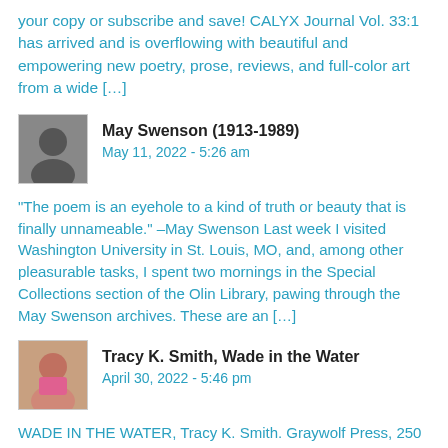your copy or subscribe and save! CALYX Journal Vol. 33:1 has arrived and is overflowing with beautiful and empowering new poetry, prose, reviews, and full-color art from a wide […]
May Swenson (1913-1989)
May 11, 2022 - 5:26 am
“The poem is an eyehole to a kind of truth or beauty that is finally unnameable.” –May Swenson Last week I visited Washington University in St. Louis, MO, and, among other pleasurable tasks, I spent two mornings in the Special Collections section of the Olin Library, pawing through the May Swenson archives. These are an …
Tracy K. Smith, Wade in the Water
April 30, 2022 - 5:46 pm
WADE IN THE WATER, Tracy K. Smith. Graywolf Press, 250 Third Avenue North, Suite 600, Minneapolis, MN 55401, 2019, 96 pages, $16 paper, www.graywolfpress.org. For my last poet in #nationalpoetrymonth, this book is too perfect. Here’s Graywolf Press’s description: In Wade in the Water, Pulitzer Prize winner